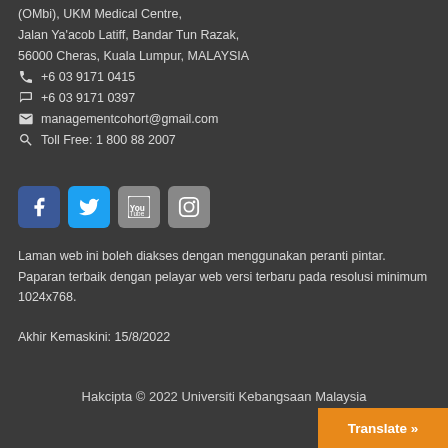(OMbi), UKM Medical Centre, Jalan Ya'acob Latiff, Bandar Tun Razak, 56000 Cheras, Kuala Lumpur, MALAYSIA
+6 03 9171 0415
+6 03 9171 0397
managementcohort@gmail.com
Toll Free: 1 800 88 2007
[Figure (infographic): Social media icons: Facebook, Twitter, YouTube, Instagram]
Laman web ini boleh diakses dengan menggunakan peranti pintar. Paparan terbaik dengan pelayar web versi terbaru pada resolusi minimum 1024x768.
Akhir Kemaskini: 15/8/2022
Hakcipta © 2022 Universiti Kebangsaan Malaysia
Translate »